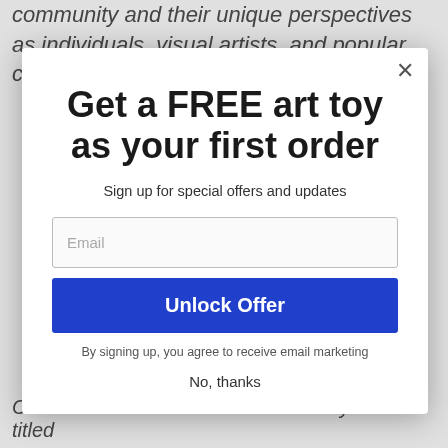community and their unique perspectives as individuals, visual artists, and popular culture
[Figure (screenshot): Modal popup overlay with close button (X), large bold heading 'Get a FREE art toy as your first order', subtitle 'Sign up for special offers and updates', an email input field, a blue 'Unlock Offer' button, disclaimer text, and 'No, thanks' link.]
Get a FREE art toy as your first order
Sign up for special offers and updates
Email
Unlock Offer
By signing up, you agree to receive email marketing
No, thanks
Colin has released a book about Baby Putts titled